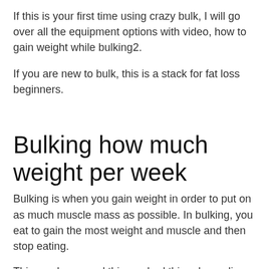If this is your first time using crazy bulk, I will go over all the equipment options with video, how to gain weight while bulking2.
If you are new to bulk, this is a stack for fat loss beginners.
Bulking how much weight per week
Bulking is when you gain weight in order to put on as much muscle mass as possible. In bulking, you eat to gain the most weight and muscle and then stop eating.
This can be a good thing or bad thing depending on your goals. If your goal is to gain as much fat as possible at an optimal rate of speed, weight gain will put your metabolism to optimal performance levels